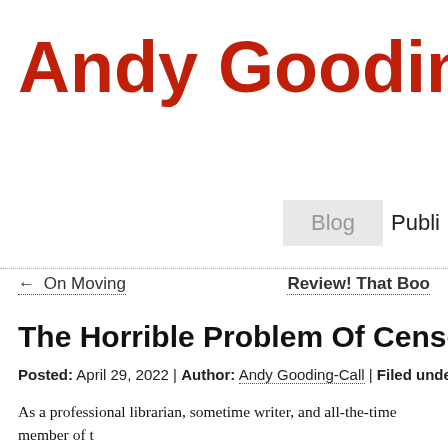Andy Gooding-C
Blog  Publi
← On Moving    Review! That Boo
The Horrible Problem Of Censorship
Posted: April 29, 2022 | Author: Andy Gooding-Call | Filed under: Uncategorized |Le
As a professional librarian, sometime writer, and all-the-time member of t inclined to become incensed at talk of censorship. Lately Texas, Florida, appear to have come to the conclusion that they can will queers and peo